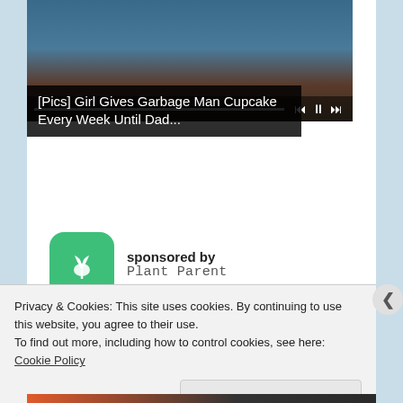[Figure (screenshot): Video player showing a child's face with playback controls (rewind, pause, fast-forward) and a progress bar at the bottom]
[Pics] Girl Gives Garbage Man Cupcake Every Week Until Dad...
sponsored by
Plant Parent
[Figure (logo): Plant Parent app icon: green rounded square with white leaf/sprout logo]
[Figure (other): Advertisement placeholder box]
Privacy & Cookies: This site uses cookies. By continuing to use this website, you agree to their use.
To find out more, including how to control cookies, see here: Cookie Policy
Close and accept